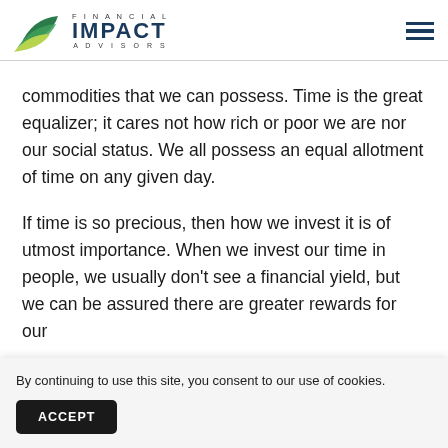Financial Impact Advisors
commodities that we can possess. Time is the great equalizer; it cares not how rich or poor we are nor our social status. We all possess an equal allotment of time on any given day.
If time is so precious, then how we invest it is of utmost importance. When we invest our time in people, we usually don’t see a financial yield, but we can be assured there are greater rewards for our efforts.
By continuing to use this site, you consent to our use of cookies.